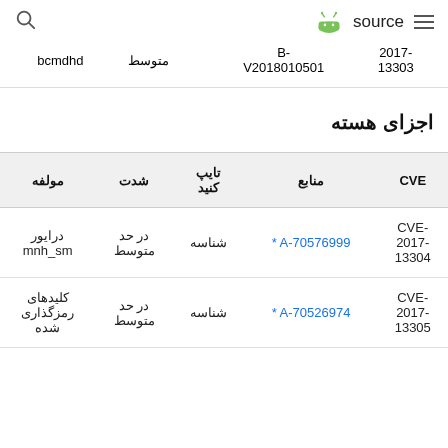source
| CVE | منابع | تایپ کنید | شدت | مولفه |
| --- | --- | --- | --- | --- |
| 2017-13303 | B-V2018010501 |  | متوسط | bcmdhd |
اجزای هسته
| CVE | منابع | تایپ کنید | شدت | مولفه |
| --- | --- | --- | --- | --- |
| CVE-2017-13304 | * A-70576999 | شناسه | در حد متوسط | درایور mnh_sm |
| CVE-2017-13305 | * A-70526974 | شناسه | در حد متوسط | کلیدهای رمزگذاری شده |